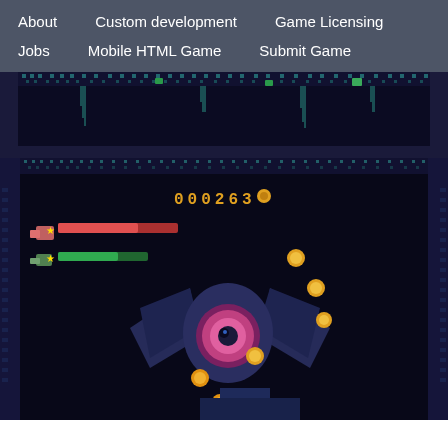About   Custom development   Game Licensing   Jobs   Mobile HTML Game   Submit Game
[Figure (screenshot): Top portion of a pixel-art video game screenshot showing a dark blue dungeon-like scene with teal/cyan pixel tile walls and ceiling decorations on a very dark navy background.]
[Figure (screenshot): Lower portion of a pixel-art video game screenshot showing a boss battle scene. A winged creature with a circular purple/pink eye dominates the center. Score reads 000263 with a coin icon. Two health bars visible (red and green). Orange coin/orb collectibles are scattered around the scene. Dark navy background with pixel tile border walls.]